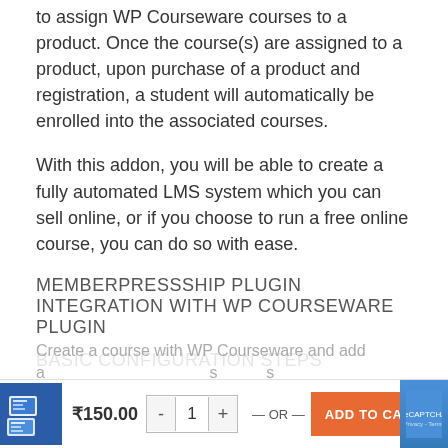to assign WP Courseware courses to a product. Once the course(s) are assigned to a product, upon purchase of a product and registration, a student will automatically be enrolled into the associated courses.
With this addon, you will be able to create a fully automated LMS system which you can sell online, or if you choose to run a free online course, you can do so with ease.
MEMBERPRESSSHIP PLUGIN INTEGRATION WITH WP COURSEWARE PLUGIN
BASIC CONFIGURATION STEPS
Create a course with WP Courseware and add a MemberPress subscription...
₹150.00  -  1  +  — OR —  ADD TO CART